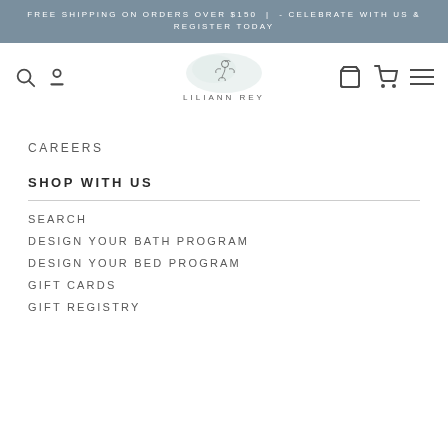FREE SHIPPING ON ORDERS OVER $150  |  - CELEBRATE WITH US & REGISTER TODAY
[Figure (logo): Liliann Rey brand logo with illustrated bird on a watercolor blob, text LILIANN REY below]
CAREERS
SHOP WITH US
SEARCH
DESIGN YOUR BATH PROGRAM
DESIGN YOUR BED PROGRAM
GIFT CARDS
GIFT REGISTRY